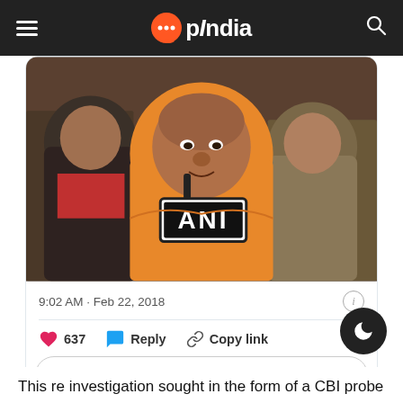OpIndia
[Figure (photo): A person wearing orange robes speaking into an ANI news microphone, with other people visible in the background.]
9:02 AM · Feb 22, 2018
637  Reply  Copy link
Read 41 replies
This re investigation sought in the form of a CBI probe